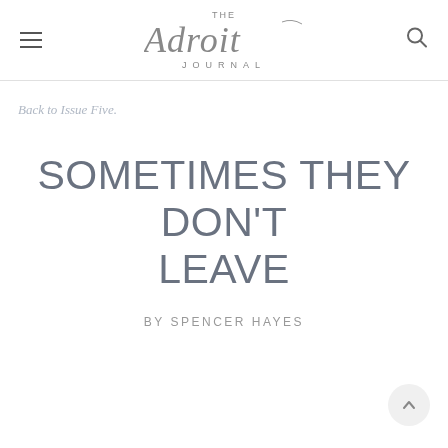THE Adroit JOURNAL
Back to Issue Five.
SOMETIMES THEY DON'T LEAVE
BY SPENCER HAYES